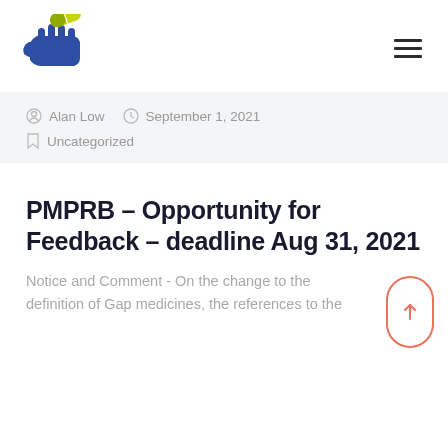[Figure (logo): Hand receiving a pill/capsule logo with blue hand and yellow-green capsule, pharmacy/medical organization logo]
Alan Low   September 1, 2021
Uncategorized
PMPRB – Opportunity for Feedback – deadline Aug 31, 2021
Notice and Comment - On the change to the definition of Gap medicines, the references to the